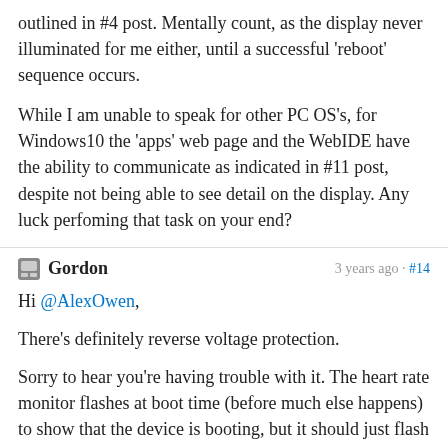outlined in #4 post. Mentally count, as the display never illuminated for me either, until a successful 'reboot' sequence occurs.
While I am unable to speak for other PC OS's, for Windows10 the 'apps' web page and the WebIDE have the ability to communicate as indicated in #11 post, despite not being able to see detail on the display. Any luck perfoming that task on your end?
Gordon   3 years ago · #14
Hi @AlexOwen,
There's definitely reverse voltage protection.
Sorry to hear you're having trouble with it. The heart rate monitor flashes at boot time (before much else happens) to show that the device is booting, but it should just flash once.